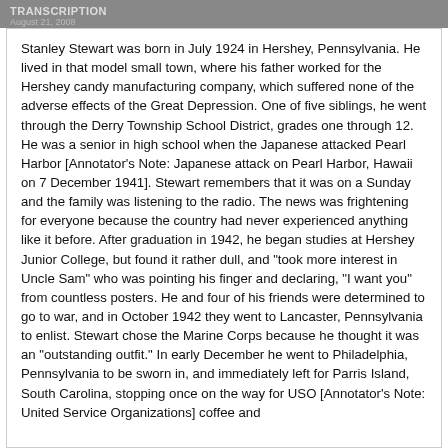TRANSCRIPTION
August 21, 2008
Stanley Stewart was born in July 1924 in Hershey, Pennsylvania. He lived in that model small town, where his father worked for the Hershey candy manufacturing company, which suffered none of the adverse effects of the Great Depression. One of five siblings, he went through the Derry Township School District, grades one through 12. He was a senior in high school when the Japanese attacked Pearl Harbor [Annotator's Note: Japanese attack on Pearl Harbor, Hawaii on 7 December 1941]. Stewart remembers that it was on a Sunday and the family was listening to the radio. The news was frightening for everyone because the country had never experienced anything like it before. After graduation in 1942, he began studies at Hershey Junior College, but found it rather dull, and "took more interest in Uncle Sam" who was pointing his finger and declaring, "I want you" from countless posters. He and four of his friends were determined to go to war, and in October 1942 they went to Lancaster, Pennsylvania to enlist. Stewart chose the Marine Corps because he thought it was an "outstanding outfit." In early December he went to Philadelphia, Pennsylvania to be sworn in, and immediately left for Parris Island, South Carolina, stopping once on the way for USO [Annotator's Note: United Service Organizations] coffee and